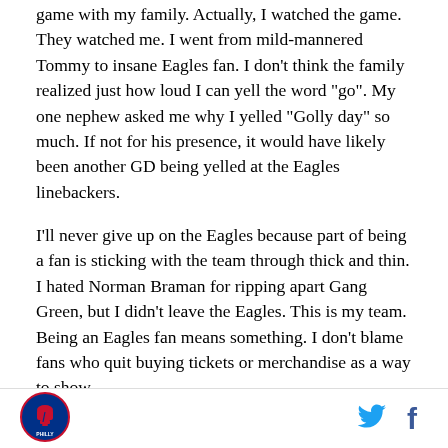Eagles-Cowboys on Christmas Eve. I watched the game with my family. Actually, I watched the game. They watched me. I went from mild-mannered Tommy to insane Eagles fan. I don't think the family realized just how loud I can yell the word "go". My one nephew asked me why I yelled "Golly day" so much. If not for his presence, it would have likely been another GD being yelled at the Eagles linebackers.
I'll never give up on the Eagles because part of being a fan is sticking with the team through thick and thin. I hated Norman Braman for ripping apart Gang Green, but I didn't leave the Eagles. This is my team. Being an Eagles fan means something. I don't blame fans who quit buying tickets or merchandise as a way to show
[Figure (logo): Phillies/Philadelphia sports circular logo with Liberty Bell]
[Figure (logo): Twitter bird icon in blue]
[Figure (logo): Facebook f icon in blue]